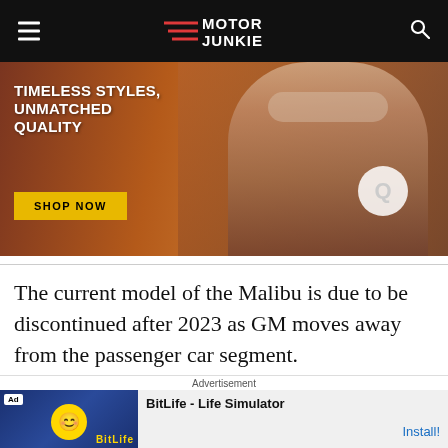Motor Junkie
[Figure (photo): Advertisement banner showing woman wearing large sunglasses with text 'TIMELESS STYLES, UNMATCHED QUALITY' and a yellow 'SHOP NOW' button]
The current model of the Malibu is due to be discontinued after 2023 as GM moves away from the passenger car segment.
Advertisement
[Figure (screenshot): BitLife - Life Simulator app advertisement with Install button]